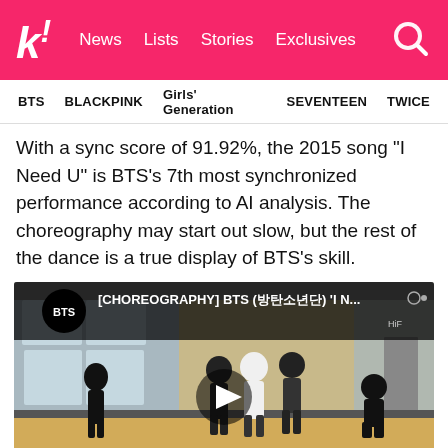K! News Lists Stories Exclusives
BTS  BLACKPINK  Girls' Generation  SEVENTEEN  TWICE
With a sync score of 91.92%, the 2015 song “I Need U” is BTS’s 7th most synchronized performance according to AI analysis. The choreography may start out slow, but the rest of the dance is a true display of BTS’s skill.
[Figure (screenshot): YouTube video thumbnail showing BTS choreography practice video titled '[CHOREOGRAPHY] BTS (방탄소년단) ‘I N...' with BTS members dancing in a practice room. A play button is visible in the center.]